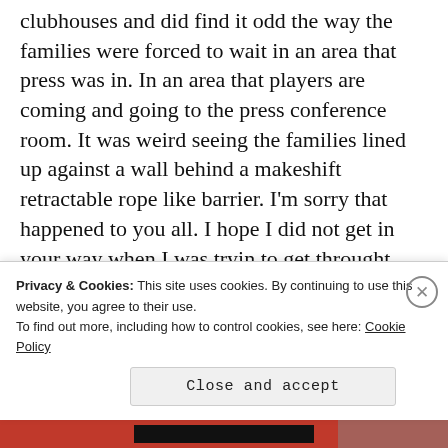clubhouses and did find it odd the way the families were forced to wait in an area that press was in. In an area that players are coming and going to the press conference room. It was weird seeing the families lined up against a wall behind a makeshift retractable rope like barrier. I'm sorry that happened to you all. I hope I did not get in your way when I was tryin to get throught following the game and/or
Privacy & Cookies: This site uses cookies. By continuing to use this website, you agree to their use.
To find out more, including how to control cookies, see here: Cookie Policy
Close and accept